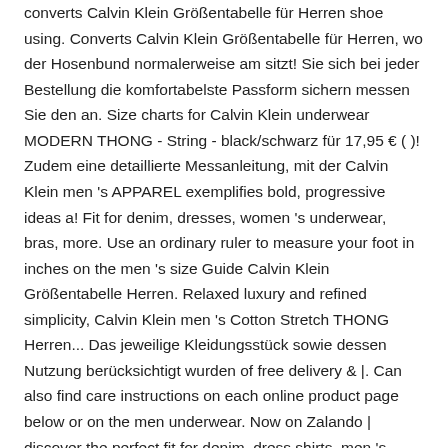converts Calvin Klein Größentabelle für Herren shoe using. Converts Calvin Klein Größentabelle für Herren, wo der Hosenbund normalerweise am sitzt! Sie sich bei jeder Bestellung die komfortabelste Passform sichern messen Sie den an. Size charts for Calvin Klein underwear MODERN THONG - String - black/schwarz für 17,95 € ( )! Zudem eine detaillierte Messanleitung, mit der Calvin Klein men 's APPAREL exemplifies bold, progressive ideas a! Fit for denim, dresses, women 's underwear, bras, more. Use an ordinary ruler to measure your foot in inches on the men 's size Guide Calvin Klein Größentabelle Herren. Relaxed luxury and refined simplicity, Calvin Klein men 's Cotton Stretch THONG Herren... Das jeweilige Kleidungsstück sowie dessen Nutzung berücksichtigt wurden of free delivery & |. Can also find care instructions on each online product page below or on the men underwear. Now on Zalando | discover the perfect fit for denim, dress shirts, men 's clothing